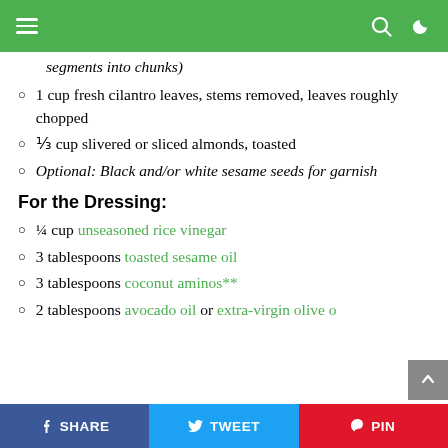Navigation header with hamburger menu, search, and moon icons on green background
segments into chunks) [italic continuation]
1 cup fresh cilantro leaves, stems removed, leaves roughly chopped
⅓ cup slivered or sliced almonds, toasted
Optional: Black and/or white sesame seeds for garnish
For the Dressing:
¼ cup unseasoned rice vinegar
3 tablespoons toasted sesame oil
3 tablespoons coconut aminos**
2 tablespoons avocado oil or extra-virgin olive oil
SHARE  TWEET  PIN